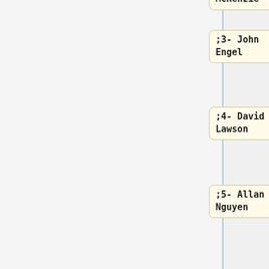McKenzie
;3- John Engel
;4- David Lawson
;5- Allan Nguyen
;6- David Ginn
;7- Ken Stalter
SuperLawyer
;1- Mike Redmond
;2- James